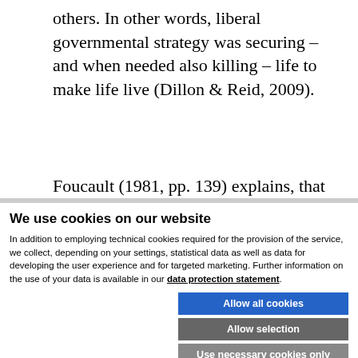others. In other words, liberal governmental strategy was securing – and when needed also killing – life to make life live (Dillon & Reid, 2009).
Foucault (1981, pp. 139) explains, that starting
We use cookies on our website
In addition to employing technical cookies required for the provision of the service, we collect, depending on your settings, statistical data as well as data for developing the user experience and for targeted marketing. Further information on the use of your data is available in our data protection statement.
Allow all cookies
Allow selection
Use necessary cookies only
Necessary technical cookies  Functional cookies  Statistics cookies  Marketing cookies  Show details